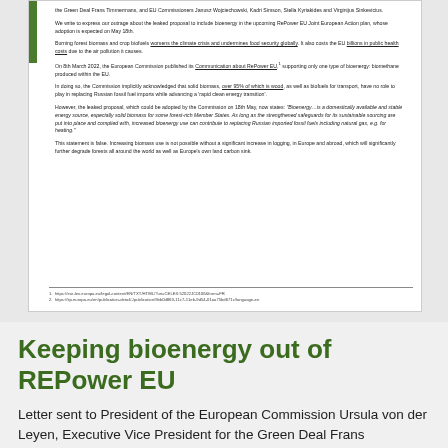[Figure (screenshot): Scanned letter document with green bar on left, addressed to President of the European Commission and EU Commissioners, expressing outrage about bioenergy inclusion in RePower EU plan. Contains body text with underlined hyperlinks and footnotes.]
Keeping bioenergy out of REPower EU
Letter sent to President of the European Commission Ursula von der Leyen, Executive Vice President for the Green Deal Frans Timmermans, and EU Commissioners Janusz Wojciechowski, Kadri Simson, Stella Kyriakides and Virginijus